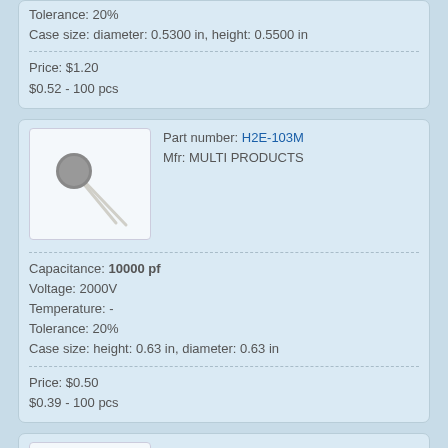Tolerance: 20%
Case size: diameter: 0.5300 in, height: 0.5500 in
Price: $1.20
$0.52 - 100 pcs
[Figure (photo): Electronic capacitor component with round gray disc body and two leads extending diagonally]
Part number: H2E-103M
Mfr: MULTI PRODUCTS
Capacitance: 10000 pf
Voltage: 2000V
Temperature: -
Tolerance: 20%
Case size: height: 0.63 in, diameter: 0.63 in
Price: $0.50
$0.39 - 100 pcs
[Figure (photo): Electronic capacitor component partially visible at bottom of page]